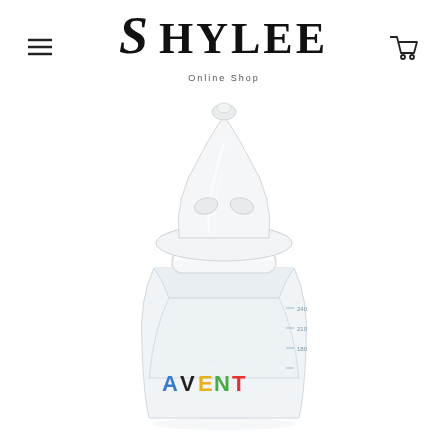[Figure (logo): Shylee Online Shop logo with stylized S and serif text]
[Figure (photo): Philips Avent baby bottle with clear silicone nipple/teat, showing the AVENT brand name on the bottle body, white cap and nipple, clear plastic bottle]